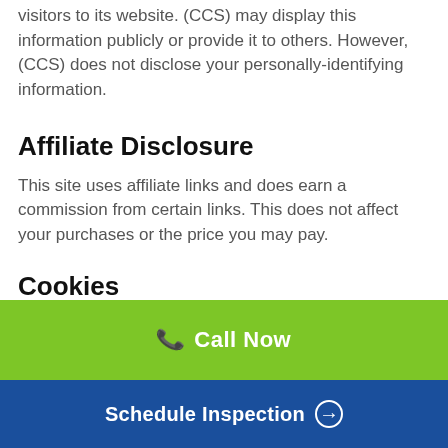visitors to its website. (CCS) may display this information publicly or provide it to others. However, (CCS) does not disclose your personally-identifying information.
Affiliate Disclosure
This site uses affiliate links and does earn a commission from certain links. This does not affect your purchases or the price you may pay.
Cookies
To enrich and perfect your online experience, (CCS)
📞 Call Now
Schedule Inspection ➔